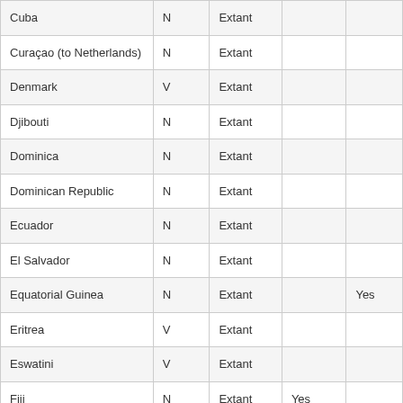|  |  |  |  |  |
| --- | --- | --- | --- | --- |
| Cuba | N | Extant |  |  |
| Curaçao (to Netherlands) | N | Extant |  |  |
| Denmark | V | Extant |  |  |
| Djibouti | N | Extant |  |  |
| Dominica | N | Extant |  |  |
| Dominican Republic | N | Extant |  |  |
| Ecuador | N | Extant |  |  |
| El Salvador | N | Extant |  |  |
| Equatorial Guinea | N | Extant |  | Yes |
| Eritrea | V | Extant |  |  |
| Eswatini | V | Extant |  |  |
| Fiji | N | Extant | Yes |  |